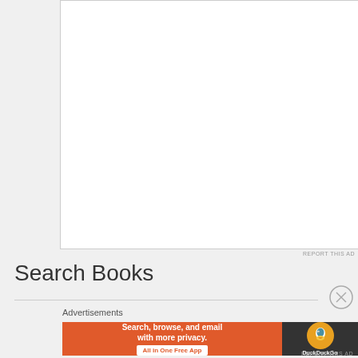[Figure (other): Blank white advertisement box with border]
REPORT THIS AD
Search Books
Advertisements
[Figure (infographic): DuckDuckGo advertisement banner: 'Search, browse, and email with more privacy. All in One Free App' with DuckDuckGo logo on dark right side]